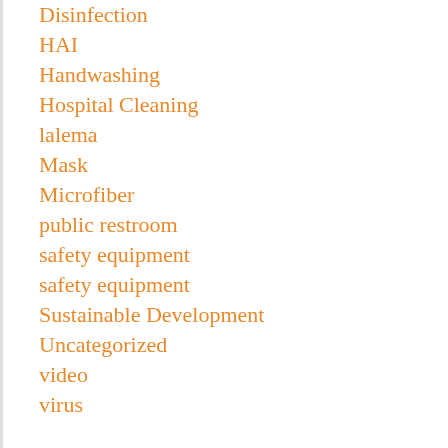Disinfection
HAI
Handwashing
Hospital Cleaning
lalema
Mask
Microfiber
public restroom
safety equipment
safety equipment
Sustainable Development
Uncategorized
video
virus